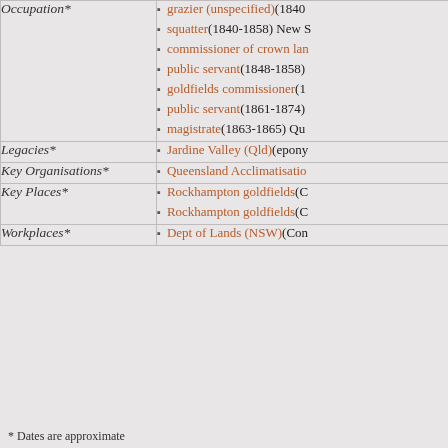| Field | Value |
| --- | --- |
| Occupation* | grazier (unspecified) (1840...
squatter (1840-1858) New S...
commissioner of crown lan...
public servant (1848-1858)
goldfields commissioner (1...
public servant (1861-1874)
magistrate (1863-1865) Qu... |
| Legacies* | Jardine Valley (Qld) (epony... |
| Key Organisations* | Queensland Acclimatisatio... |
| Key Places* | Rockhampton goldfields (C...
Rockhampton goldfields (C... |
| Workplaces* | Dept of Lands (NSW) (Con... |
* Dates are approximate